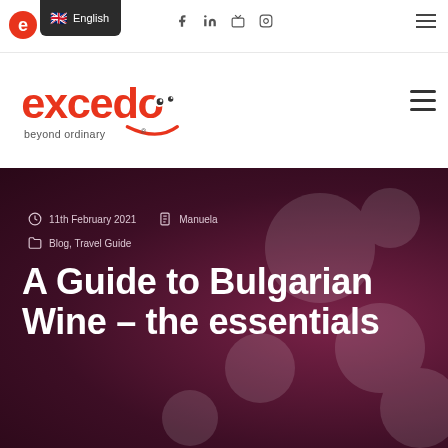English | Social icons | Menu
[Figure (logo): Excedo 'beyond ordinary' logo with cartoon character eyes]
11th February 2021   Manuela
Blog, Travel Guide
A Guide to Bulgarian Wine – the essentials